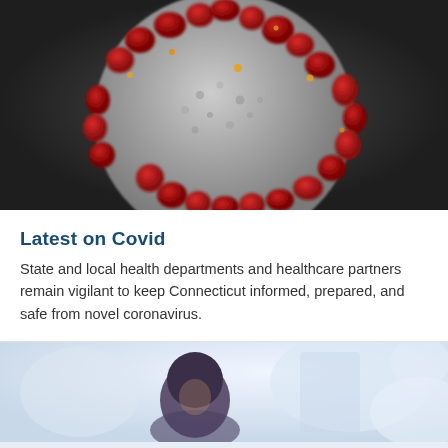[Figure (photo): Close-up 3D rendering of a coronavirus particle on a dark grey background, showing the characteristic red spike proteins covering the spherical grey surface, with some orange highlights]
Latest on Covid
State and local health departments and healthcare partners remain vigilant to keep Connecticut informed, prepared, and safe from novel coronavirus.
[Figure (photo): Partial view of a person (likely a healthcare worker or individual) with dark hair, shown from behind/side in a blurred indoor setting with light background]